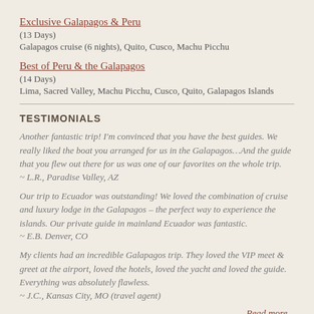Exclusive Galapagos & Peru
(13 Days)
Galapagos cruise (6 nights), Quito, Cusco, Machu Picchu
Best of Peru & the Galapagos
(14 Days)
Lima, Sacred Valley, Machu Picchu, Cusco, Quito, Galapagos Islands
TESTIMONIALS
Another fantastic trip! I'm convinced that you have the best guides. We really liked the boat you arranged for us in the Galapagos…And the guide that you flew out there for us was one of our favorites on the whole trip.
~ L.R., Paradise Valley, AZ
Our trip to Ecuador was outstanding! We loved the combination of cruise and luxury lodge in the Galapagos – the perfect way to experience the islands. Our private guide in mainland Ecuador was fantastic.
~ E.B. Denver, CO
My clients had an incredible Galapagos trip. They loved the VIP meet & greet at the airport, loved the hotels, loved the yacht and loved the guide. Everything was absolutely flawless.
~ J.C., Kansas City, MO (travel agent)
Read more...